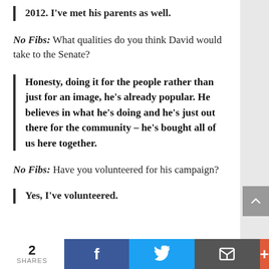2012. I've met his parents as well.
No Fibs: What qualities do you think David would take to the Senate?
Honesty, doing it for the people rather than just for an image, he's already popular. He believes in what he's doing and he's just out there for the community – he's bought all of us here together.
No Fibs: Have you volunteered for his campaign?
Yes, I've volunteered.
2 SHARES  [Facebook] [Twitter] [Email] [+]